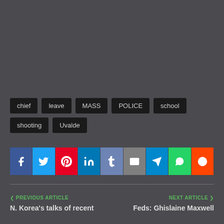chief
leave
MASS
POLICE
school
shooting
Uvalde
[Figure (infographic): Social share buttons: Facebook, Twitter, Pinterest, LinkedIn, Tumblr, Email, Telegram, WhatsApp, Reddit]
PREVIOUS ARTICLE
N. Korea's talks of recent
NEXT ARTICLE
Feds: Ghislaine Maxwell